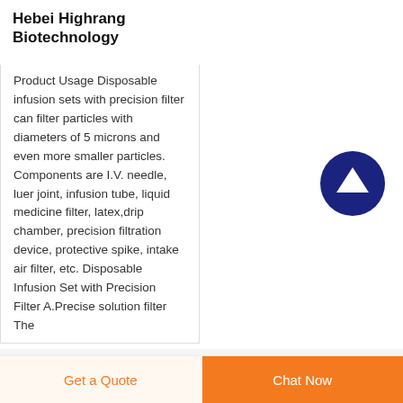Hebei Highrang Biotechnology
Product Usage Disposable infusion sets with precision filter can filter particles with diameters of 5 microns and even more smaller particles. Components are I.V. needle, luer joint, infusion tube, liquid medicine filter, latex,drip chamber, precision filtration device, protective spike, intake air filter, etc. Disposable Infusion Set with Precision Filter A.Precise solution filter The
[Figure (illustration): Dark blue circular button with upward-pointing arrow icon (scroll to top button)]
Get a Quote | Chat Now